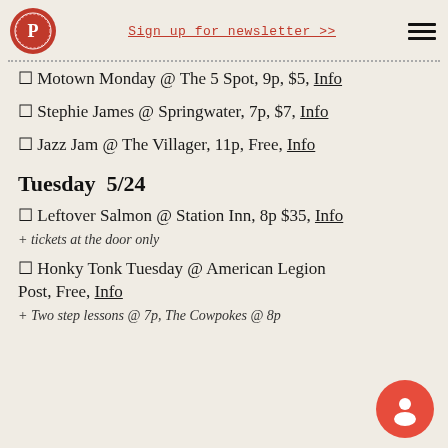Sign up for newsletter >>
□ Motown Monday @ The 5 Spot, 9p, $5, Info
□ Stephie James @ Springwater, 7p, $7, Info
□ Jazz Jam @ The Villager, 11p, Free, Info
Tuesday  5/24
□ Leftover Salmon @ Station Inn, 8p $35, Info
+ tickets at the door only
□ Honky Tonk Tuesday @ American Legion Post…, Free, Info
+ Two step lessons @ 7p, The Cowpokes @ 8p